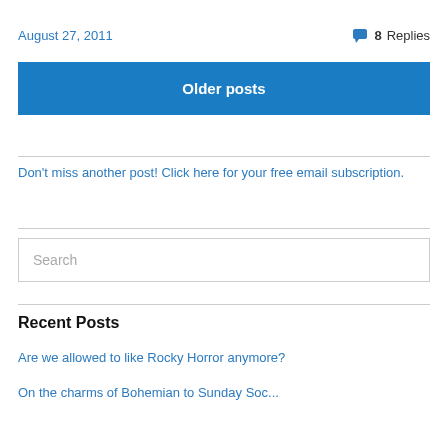August 27, 2011
8 Replies
Older posts
Don't miss another post! Click here for your free email subscription.
Search
Recent Posts
Are we allowed to like Rocky Horror anymore?
On the charms of Bohemian to Sunday Soc...